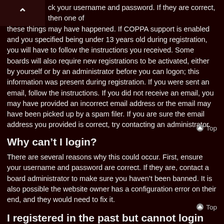...ck your username and password. If they are correct, then one of these things may have happened. If COPPA support is enabled and you specified being under 13 years old during registration, you will have to follow the instructions you received. Some boards will also require new registrations to be activated, either by yourself or by an administrator before you can logon; this information was present during registration. If you were sent an email, follow the instructions. If you did not receive an email, you may have provided an incorrect email address or the email may have been picked up by a spam filer. If you are sure the email address you provided is correct, try contacting an administrator.
Top
Why can't I login?
There are several reasons why this could occur. First, ensure your username and password are correct. If they are, contact a board administrator to make sure you haven't been banned. It is also possible the website owner has a configuration error on their end, and they would need to fix it.
Top
I registered in the past but cannot login any more?!
It is possible an administrator has deactivated or deleted your account for some reason. Also, many boards periodically remove users who have not posted for a long time to reduce the size of the database. If this has happened, try registering again and being more involved in discussions.